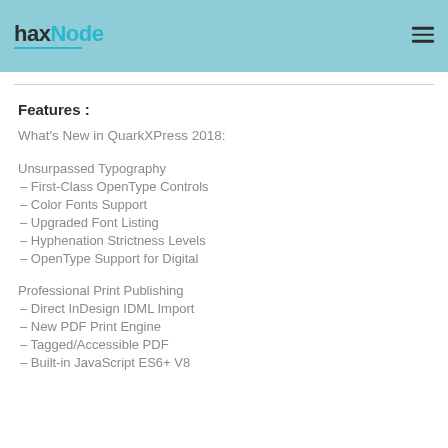haxNode
Features :
What's New in QuarkXPress 2018:
Unsurpassed Typography
– First-Class OpenType Controls
– Color Fonts Support
– Upgraded Font Listing
– Hyphenation Strictness Levels
– OpenType Support for Digital
Professional Print Publishing
– Direct InDesign IDML Import
– New PDF Print Engine
– Tagged/Accessible PDF
– Built-in JavaScript ES6+ V8